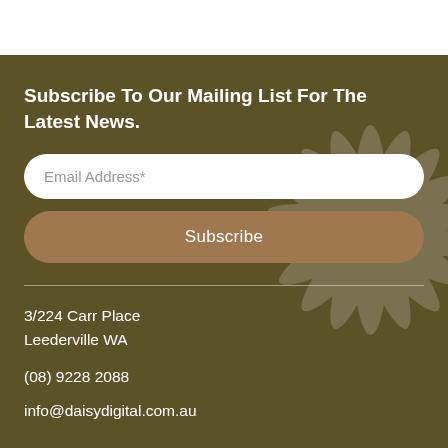Subscribe To Our Mailing List For The Latest News.
Email Address*
Subscribe
3/224 Carr Place
Leederville WA
(08) 9228 2088
info@daisydigital.com.au